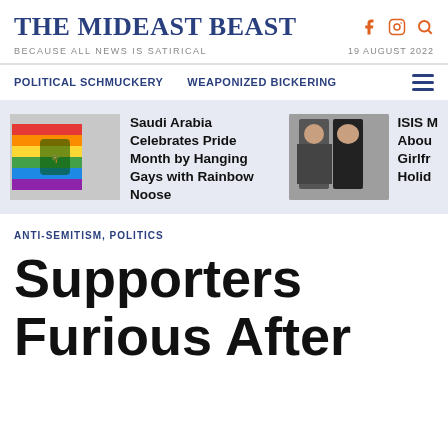THE MIDEAST BEAST
BECAUSE ALL NEWS IS SATIRICAL
19 AUGUST 2022
POLITICAL SCHMUCKERY   WEAPONIZED BICKERING
[Figure (photo): Rainbow pride flag with Saudi Arabia emblem]
Saudi Arabia Celebrates Pride Month by Hanging Gays with Rainbow Noose
[Figure (photo): Two figures in dark clothing, one in military uniform]
ISIS M... About... Girlfr... Holid...
ANTI-SEMITISM, POLITICS
Supporters Furious After